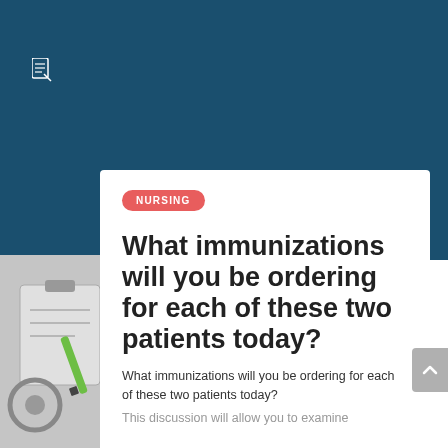[Figure (illustration): Dark blue background with a small document/file icon in the upper left area]
[Figure (photo): Partial photo of a stethoscope and clipboard/notepad with green pen in the lower-left corner]
NURSING
What immunizations will you be ordering for each of these two patients today?
What immunizations will you be ordering for each of these two patients today?
This discussion will allow you to examine